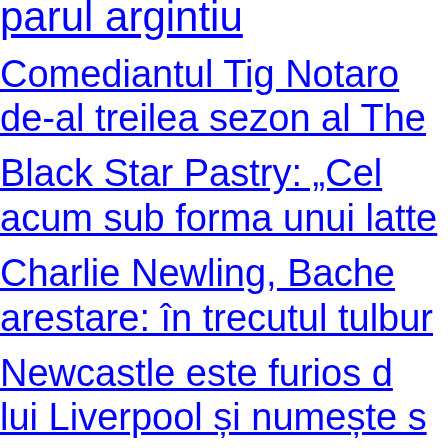parul argintiu
Comediantul Tig Notaro de-al treilea sezon al The
Black Star Pastry: „Cel acum sub forma unui latte
Charlie Newling, Bache arestare: în trecutul tulbur
Newcastle este furios d lui Liverpool și numește s
Finalul UKD 2023...